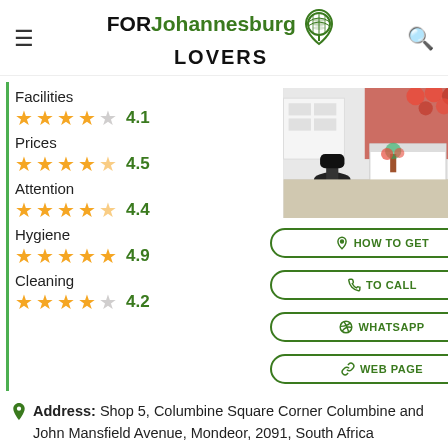FOR Johannesburg LOVERS
Facilities ★★★★☆ 4.1
Prices ★★★★½ 4.5
Attention ★★★★½ 4.4
Hygiene ★★★★★ 4.9
Cleaning ★★★★☆ 4.2
[Figure (photo): Interior of a beauty/nail salon with white furniture, red balloons, and a black office chair]
HOW TO GET
TO CALL
WHATSAPP
WEB PAGE
Address: Shop 5, Columbine Square Corner Columbine and John Mansfield Avenue, Mondeor, 2091, South Africa